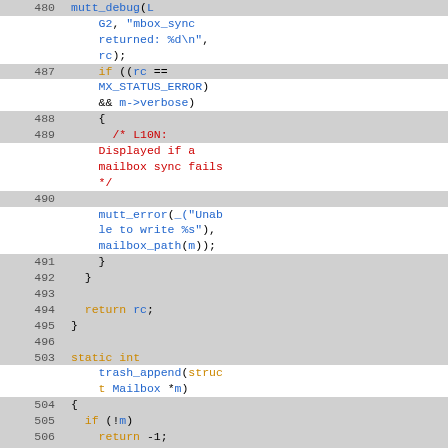[Figure (screenshot): Source code viewer showing C code lines 480-510. Lines include mutt_debug, if conditions, MX_STATUS_ERROR, verbose check, L10N comment, mutt_error, return statements, and trash_append function definition with struct stat variables.]